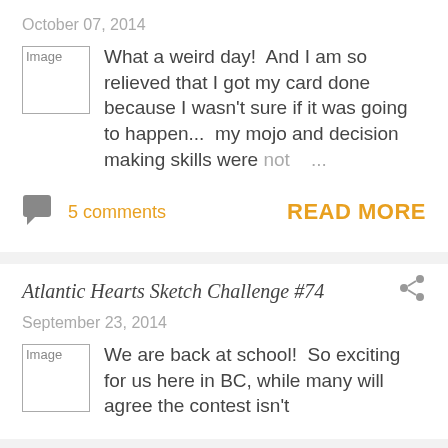October 07, 2014
[Figure (photo): Image placeholder (broken image icon)]
What a weird day!  And I am so relieved that I got my card done because I wasn't sure if it was going to happen...  my mojo and decision making skills were not ...
5 comments
READ MORE
Atlantic Hearts Sketch Challenge #74
September 23, 2014
[Figure (photo): Image placeholder (broken image icon)]
We are back at school!  So exciting for us here in BC, while many will agree the contest isn't